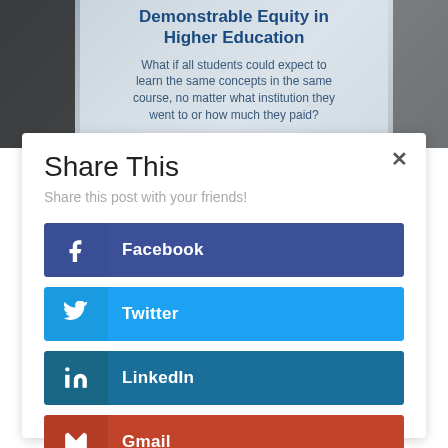[Figure (illustration): Banner image showing 'Demonstrable Equity in Higher Education' title with subtitle text: 'What if all students could expect to learn the same concepts in the same course, no matter what institution they went to or how much they paid?' overlaid on a partially visible photo background.]
Share This
Share this post with your friends!
Facebook
Twitter
LinkedIn
Gmail